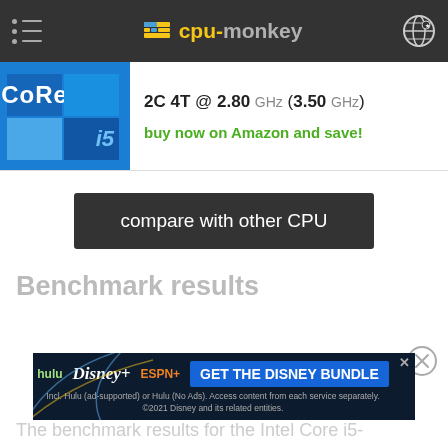cpu-monkey
[Figure (logo): Intel Core i5 logo — blue squares with CORE text and i5 badge]
2C 4T @ 2.80 GHz (3.50 GHz)
buy now on Amazon and save!
compare with other CPU
Benchmark results
[Figure (screenshot): Disney Bundle advertisement banner: hulu Disney+ ESPN+ GET THE DISNEY BUNDLE]
The benchmark results for the Intel Core i5-